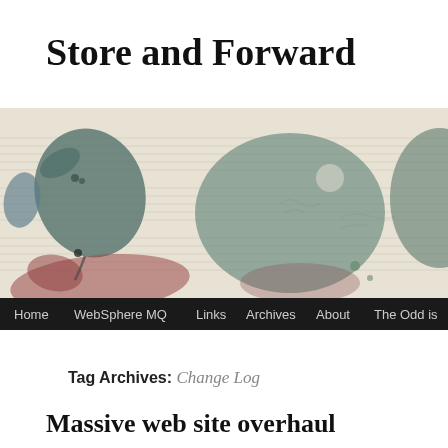Store and Forward
[Figure (illustration): Decorative banner image showing abstract watercolor ink blot shapes in dark teal, muted red/pink, and green-gray tones overlaid on faded sheet music/handwritten manuscript paper. Dark navigation bar at the bottom with menu items.]
Home   WebSphere MQ   Links   Archives   About   The Odd is
Tag Archives: Change Log
Massive web site overhaul